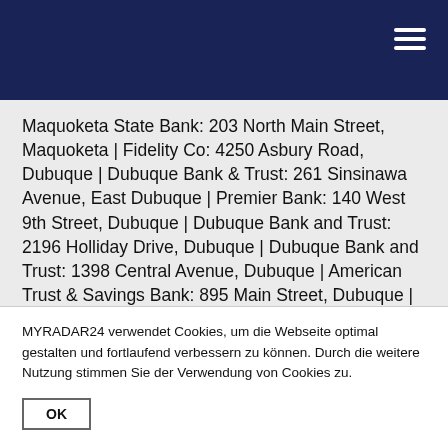Maquoketa State Bank: 203 North Main Street, Maquoketa | Fidelity Co: 4250 Asbury Road, Dubuque | Dubuque Bank & Trust: 261 Sinsinawa Avenue, East Dubuque | Premier Bank: 140 West 9th Street, Dubuque | Dubuque Bank and Trust: 2196 Holliday Drive, Dubuque | Dubuque Bank and Trust: 1398 Central Avenue, Dubuque | American Trust & Savings Bank: 895 Main Street, Dubuque | Advance America: 2600 Dodge Street c, Dubuque | East Dubuque Savings Bank: 242 Wall Street, East Dubuque | Maquoketa State Bank: 112 McKinsey Drive, Maquoketa | U.S. Bank Branch: 270 West 7th Street, Dubuque | U.S. Bank Branch: 9905 Northwest...
MYRADAR24 verwendet Cookies, um die Webseite optimal gestalten und fortlaufend verbessern zu können. Durch die weitere Nutzung stimmen Sie der Verwendung von Cookies zu.
OK